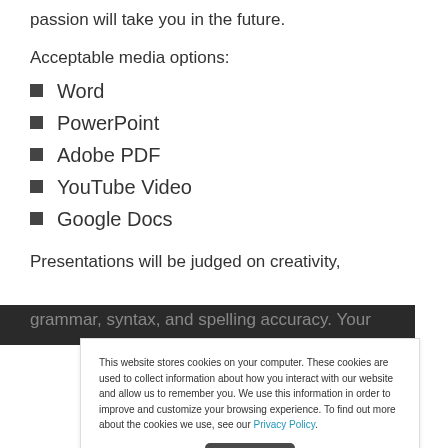passion will take you in the future.
Acceptable media options:
Word
PowerPoint
Adobe PDF
YouTube Video
Google Docs
Presentations will be judged on creativity, grammar, syntax, and spelling accuracy. Your
This website stores cookies on your computer. These cookies are used to collect information about how you interact with our website and allow us to remember you. We use this information in order to improve and customize your browsing experience. To find out more about the cookies we use, see our Privacy Policy.